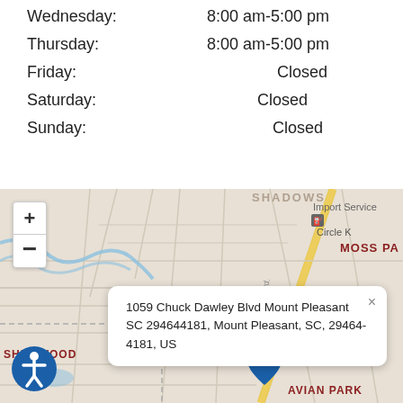Wednesday: 8:00 am-5:00 pm
Thursday: 8:00 am-5:00 pm
Friday: Closed
Saturday: Closed
Sunday: Closed
[Figure (map): Interactive map showing location pin at 1059 Chuck Dawley Blvd, Mount Pleasant, SC with a popup address label, zoom controls, neighborhood labels (SHEMWOOD, HERITAGE, AVIAN PARK, MOSS PA), and road/water features. An accessibility icon is visible in the bottom left.]